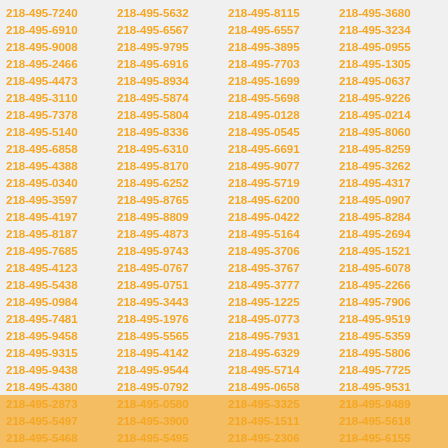| 218-495-7240 | 218-495-5632 | 218-495-8115 | 218-495-3680 |
| 218-495-6910 | 218-495-6567 | 218-495-6557 | 218-495-3234 |
| 218-495-9008 | 218-495-9795 | 218-495-3895 | 218-495-0955 |
| 218-495-2466 | 218-495-6916 | 218-495-7703 | 218-495-1305 |
| 218-495-4473 | 218-495-8934 | 218-495-1699 | 218-495-0637 |
| 218-495-3110 | 218-495-5874 | 218-495-5698 | 218-495-9226 |
| 218-495-7378 | 218-495-5804 | 218-495-0128 | 218-495-0214 |
| 218-495-5140 | 218-495-8336 | 218-495-0545 | 218-495-8060 |
| 218-495-6858 | 218-495-6310 | 218-495-6691 | 218-495-8259 |
| 218-495-4388 | 218-495-8170 | 218-495-9077 | 218-495-3262 |
| 218-495-0340 | 218-495-6252 | 218-495-5719 | 218-495-4317 |
| 218-495-3597 | 218-495-8765 | 218-495-6200 | 218-495-0907 |
| 218-495-4197 | 218-495-8809 | 218-495-0422 | 218-495-8284 |
| 218-495-8187 | 218-495-4873 | 218-495-5164 | 218-495-2694 |
| 218-495-7685 | 218-495-9743 | 218-495-3706 | 218-495-1521 |
| 218-495-4123 | 218-495-0767 | 218-495-3767 | 218-495-6078 |
| 218-495-5438 | 218-495-0751 | 218-495-3777 | 218-495-2266 |
| 218-495-0984 | 218-495-3443 | 218-495-1225 | 218-495-7906 |
| 218-495-7481 | 218-495-1976 | 218-495-0773 | 218-495-9519 |
| 218-495-9458 | 218-495-5565 | 218-495-7931 | 218-495-5359 |
| 218-495-9315 | 218-495-4142 | 218-495-6329 | 218-495-5806 |
| 218-495-9438 | 218-495-9544 | 218-495-5714 | 218-495-7725 |
| 218-495-4380 | 218-495-0792 | 218-495-0658 | 218-495-9531 |
| 218-495-2873 | 218-495-0580 | 218-495-3325 | 218-495-9489 |
| 218-495-5497 | 218-495-3900 | 218-495-1511 | 218-495-5618 |
| 218-495-5468 | 218-495-5495 | 218-495-2306 | 218-495-6155 |
| 218-495-0328 | 218-495-7331 | 218-495-9512 | 218-495-6338 |